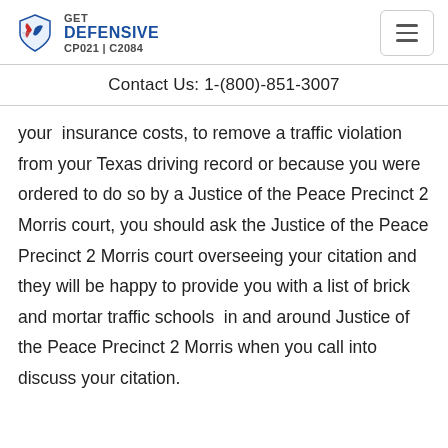GET DEFENSIVE CP021 | C2084
Contact Us: 1-(800)-851-3007
your insurance costs, to remove a traffic violation from your Texas driving record or because you were ordered to do so by a Justice of the Peace Precinct 2 Morris court, you should ask the Justice of the Peace Precinct 2 Morris court overseeing your citation and they will be happy to provide you with a list of brick and mortar traffic schools in and around Justice of the Peace Precinct 2 Morris when you call into discuss your citation.